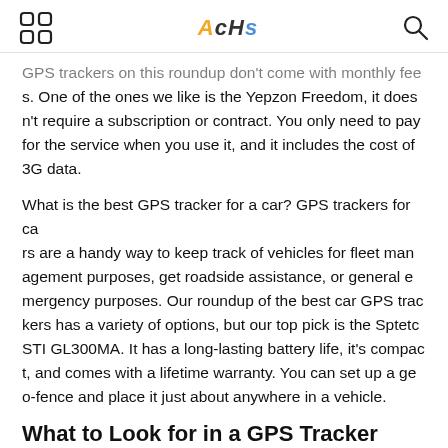AcHs
GPS trackers on this roundup don't come with monthly fees. One of the ones we like is the Yepzon Freedom, it doesn't require a subscription or contract. You only need to pay for the service when you use it, and it includes the cost of 3G data.
What is the best GPS tracker for a car? GPS trackers for cars are a handy way to keep track of vehicles for fleet management purposes, get roadside assistance, or general emergency purposes. Our roundup of the best car GPS trackers has a variety of options, but our top pick is the Sptetc STI GL300MA. It has a long-lasting battery life, it's compact, and comes with a lifetime warranty. You can set up a geo-fence and place it just about anywhere in a vehicle.
What to Look for in a GPS Tracker